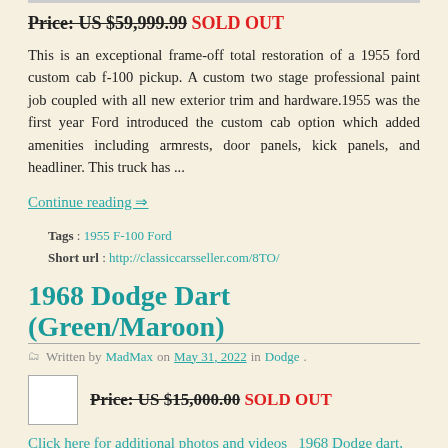Price: US $59,999.99 SOLD OUT
This is an exceptional frame-off total restoration of a 1955 ford custom cab f-100 pickup. A custom two stage professional paint job coupled with all new exterior trim and hardware.1955 was the first year Ford introduced the custom cab option which added amenities including armrests, door panels, kick panels, and headliner. This truck has ...
Continue reading ⇒
Tags : 1955 F-100 Ford
Short url : http://classiccarsseller.com/8TO/
1968 Dodge Dart (Green/Maroon)
Written by MadMax on May 31, 2022 in Dodge.
Price: US $15,000.00 SOLD OUT
Click here for additional photos and videos  1968 Dodge dart,